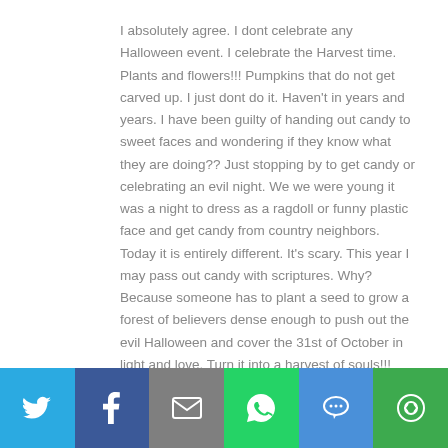I absolutely agree. I dont celebrate any Halloween event. I celebrate the Harvest time. Plants and flowers!!! Pumpkins that do not get carved up. I just dont do it. Haven't in years and years. I have been guilty of handing out candy to sweet faces and wondering if they know what they are doing?? Just stopping by to get candy or celebrating an evil night. We we were young it was a night to dress as a ragdoll or funny plastic face and get candy from country neighbors. Today it is entirely different. It's scary. This year I may pass out candy with scriptures. Why? Because someone has to plant a seed to grow a forest of believers dense enough to push out the evil Halloween and cover the 31st of October in light and love. Turn it into a harvest of souls!!! How neat it would be if on that night we had more Christian conversions than any other time of the year??? We must all try harder!!! We have to reach
[Figure (infographic): Social sharing bar with six buttons: Twitter (blue bird icon), Facebook (dark blue F icon), Email (gray envelope icon), WhatsApp (green phone/message icon), SMS (blue SMS bubble icon), More/share (green circular arrows icon)]